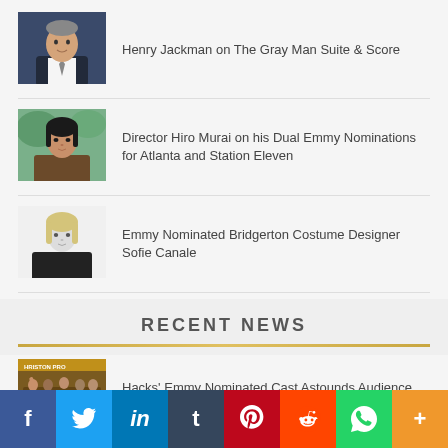[Figure (photo): Photo of Henry Jackman, a middle-aged man in a dark suit]
Henry Jackman on The Gray Man Suite & Score
[Figure (photo): Photo of Director Hiro Murai, an Asian man in a brown top]
Director Hiro Murai on his Dual Emmy Nominations for Atlanta and Station Eleven
[Figure (photo): Black and white photo of Sofie Canale, a woman with blonde hair]
Emmy Nominated Bridgerton Costume Designer Sofie Canale
RECENT NEWS
[Figure (photo): Event photo showing Hacks cast at Avalon Hollywood table read]
Hacks' Emmy Nominated Cast Astounds Audience With Table Read at Avalon Hollywood